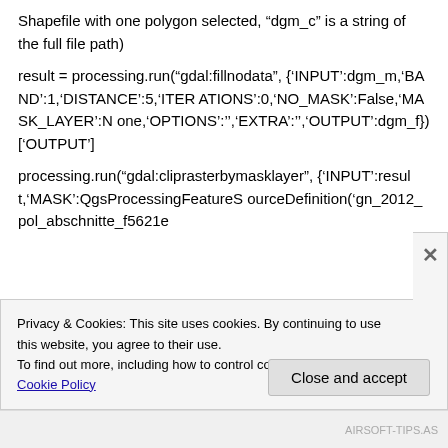Shapefile with one polygon selected, “dgm_c” is a string of the full file path)
result = processing.run(“gdal:fillnodata”, {'INPUT':dgm_m,'BAND':1,'DISTANCE':5,'ITERATIONS':0,'NO_MASK':False,'MASK_LAYER':None,'OPTIONS':'','EXTRA':'','OUTPUT':dgm_f})['OUTPUT']
processing.run(“gdal:cliprasterbymasklayer”, {'INPUT':result,'MASK':QgsProcessingFeatureSourceDefinition('gn_2012_pol_abschnitte_f5621e
Privacy & Cookies: This site uses cookies. By continuing to use this website, you agree to their use.
To find out more, including how to control cookies, see here: Our Cookie Policy
Close and accept